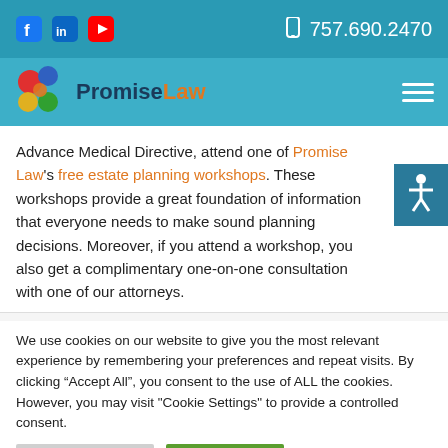Social icons (Facebook, LinkedIn, YouTube) | 757.690.2470
[Figure (logo): Promise Law logo with colorful puzzle pieces and text 'Promise Law' with hamburger menu]
Advance Medical Directive, attend one of Promise Law's free estate planning workshops. These workshops provide a great foundation of information that everyone needs to make sound planning decisions. Moreover, if you attend a workshop, you also get a complimentary one-on-one consultation with one of our attorneys.
We use cookies on our website to give you the most relevant experience by remembering your preferences and repeat visits. By clicking “Accept All”, you consent to the use of ALL the cookies. However, you may visit "Cookie Settings" to provide a controlled consent.